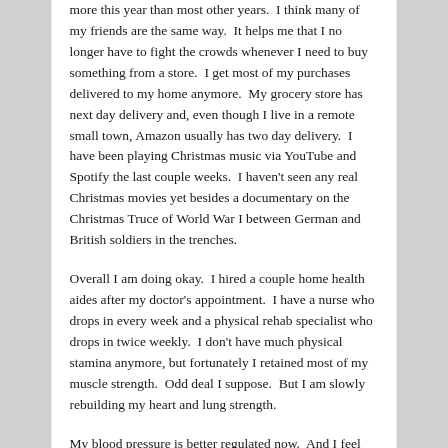more this year than most other years.  I think many of my friends are the same way.  It helps me that I no longer have to fight the crowds whenever I need to buy something from a store.  I get most of my purchases delivered to my home anymore.  My grocery store has next day delivery and, even though I live in a remote small town, Amazon usually has two day delivery.  I have been playing Christmas music via YouTube and Spotify the last couple weeks.  I haven't seen any real Christmas movies yet besides a documentary on the Christmas Truce of World War I between German and British soldiers in the trenches.
Overall I am doing okay.  I hired a couple home health aides after my doctor's appointment.  I have a nurse who drops in every week and a physical rehab specialist who drops in twice weekly.  I don't have much physical stamina anymore, but fortunately I retained most of my muscle strength.  Odd deal I suppose.  But I am slowly rebuilding my heart and lung strength.
My blood pressure is better regulated now.  And I feel less